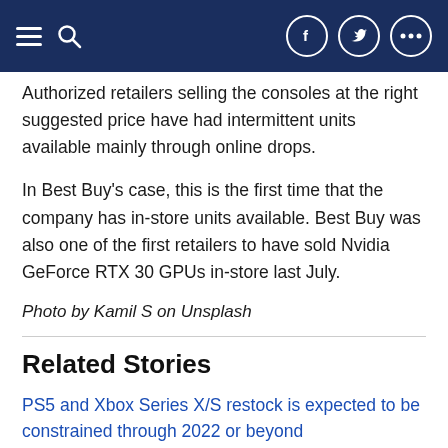Navigation bar with menu, search, and social icons
Authorized retailers selling the consoles at the right suggested price have had intermittent units available mainly through online drops.
In Best Buy’s case, this is the first time that the company has in-store units available. Best Buy was also one of the first retailers to have sold Nvidia GeForce RTX 30 GPUs in-store last July.
Photo by Kamil S on Unsplash
Related Stories
PS5 and Xbox Series X/S restock is expected to be constrained through 2022 or beyond